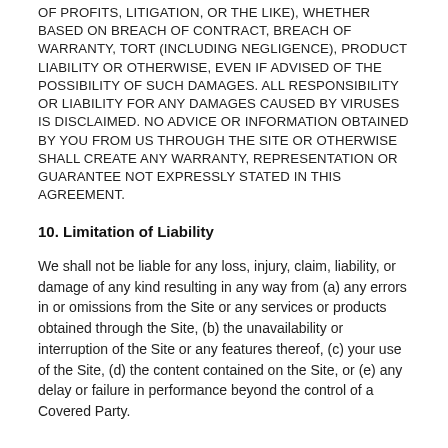OF PROFITS, LITIGATION, OR THE LIKE), WHETHER BASED ON BREACH OF CONTRACT, BREACH OF WARRANTY, TORT (INCLUDING NEGLIGENCE), PRODUCT LIABILITY OR OTHERWISE, EVEN IF ADVISED OF THE POSSIBILITY OF SUCH DAMAGES. ALL RESPONSIBILITY OR LIABILITY FOR ANY DAMAGES CAUSED BY VIRUSES IS DISCLAIMED. NO ADVICE OR INFORMATION OBTAINED BY YOU FROM US THROUGH THE SITE OR OTHERWISE SHALL CREATE ANY WARRANTY, REPRESENTATION OR GUARANTEE NOT EXPRESSLY STATED IN THIS AGREEMENT.
10. Limitation of Liability
We shall not be liable for any loss, injury, claim, liability, or damage of any kind resulting in any way from (a) any errors in or omissions from the Site or any services or products obtained through the Site, (b) the unavailability or interruption of the Site or any features thereof, (c) your use of the Site, (d) the content contained on the Site, or (e) any delay or failure in performance beyond the control of a Covered Party.